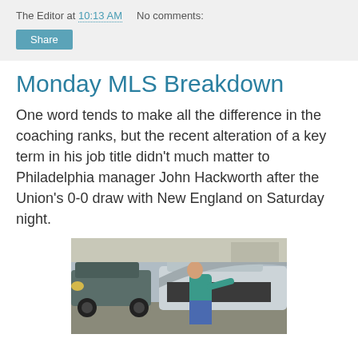The Editor at 10:13 AM   No comments:
Monday MLS Breakdown
One word tends to make all the difference in the coaching ranks, but the recent alteration of a key term in his job title didn't much matter to Philadelphia manager John Hackworth after the Union's 0-0 draw with New England on Saturday night.
[Figure (photo): A man in a teal shirt leaning over an open car hood working on the engine, with another vehicle visible in the background in a parking lot setting.]